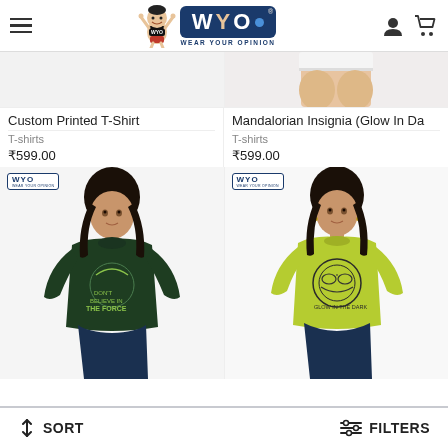WYO — Wear Your Opinion
[Figure (screenshot): Partial product image top — woman in shorts (Mandalorian product)]
Custom Printed T-Shirt
T-shirts
₹599.00
Mandalorian Insignia (Glow In Da...
T-shirts
₹599.00
[Figure (photo): Woman wearing dark green graphic T-shirt with Yoda / The Force print, WYO brand badge top-left]
[Figure (photo): Woman wearing lime green graphic T-shirt with Mandalorian insignia glow print, WYO brand badge top-left]
↕ SORT     FILTERS